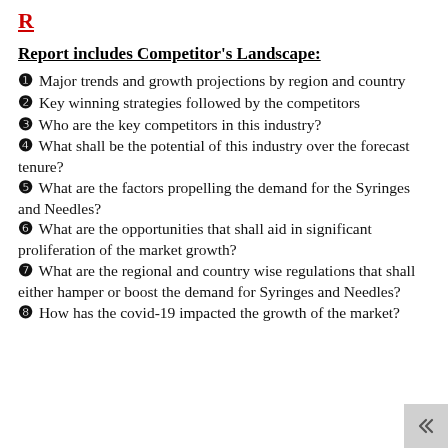R
Report includes Competitor's Landscape:
❶ Major trends and growth projections by region and country
❷ Key winning strategies followed by the competitors
❸ Who are the key competitors in this industry?
❹ What shall be the potential of this industry over the forecast tenure?
❺ What are the factors propelling the demand for the Syringes and Needles?
❻ What are the opportunities that shall aid in significant proliferation of the market growth?
❼ What are the regional and country wise regulations that shall either hamper or boost the demand for Syringes and Needles?
❽ How has the covid-19 impacted the growth of the market?